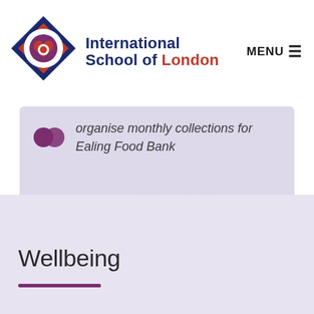[Figure (logo): International School of London logo with geometric diamond/circle emblem in red, blue, and white, alongside school name text]
organise monthly collections for Ealing Food Bank
Wellbeing